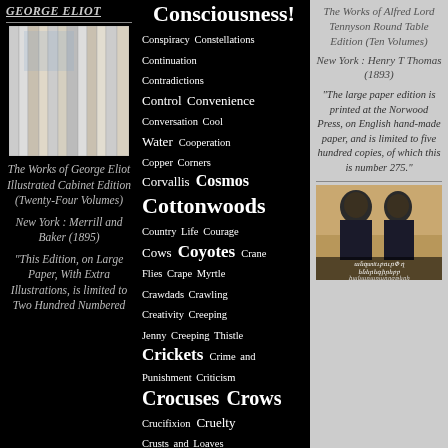GEORGE ELIOT
[Figure (photo): Stacked book spines of a multi-volume set, pale colored bindings]
The Works of George Eliot Illustrated Cabinet Edition (Twenty-Four Volumes)
New York : Merrill and Baker (1895)
"This Edition, on Large Paper, With Extra Illustrations, is limited to Two Hundred Numbered
Consciousness!
Conspiracy Constellations
Continuation
Contradictions
Control Convenience
Conversation Cool Water Cooperation
Copper Corners
Corvallis Cosmos
Cottonwoods
Country Life Courage
Cows Coyotes Crane Flies Crape Myrtle
Crawdads Crawling
Creativity Creeping Jenny Creeping Thistle
Crickets Crime and Punishment Criticism
Crocuses Crows
Crucifixion Cruelty
Crusts and Loaves
Crutches Cuckoo Clocks
Cucumbers
Cultivation Culture
The Works of Alfred Lord Tennyson Round Table Edition (Ten Volumes)
New York : Henry T Thomas (1893)
"The large paper edition is printed at the Norwood Press, on English hand-made paper, and is limited to five hundred copies, of which this is number 275."
[Figure (photo): Two men depicted in a painting or illustration, with Armenian text at the bottom]